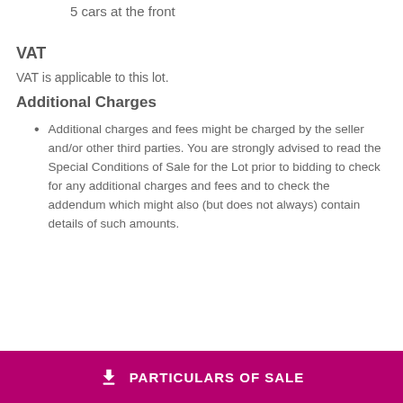5 cars at the front
VAT
VAT is applicable to this lot.
Additional Charges
Additional charges and fees might be charged by the seller and/or other third parties. You are strongly advised to read the Special Conditions of Sale for the Lot prior to bidding to check for any additional charges and fees and to check the addendum which might also (but does not always) contain details of such amounts.
PARTICULARS OF SALE